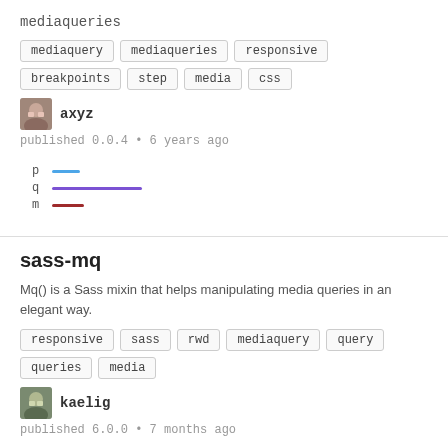mediaqueries
mediaquery  mediaqueries  responsive
breakpoints  step  media  css
axyz
published 0.0.4 • 6 years ago
[Figure (other): Legend with three colored lines: p (blue, short), q (purple, long), m (dark red, short)]
sass-mq
Mq() is a Sass mixin that helps manipulating media queries in an elegant way.
responsive  sass  rwd  mediaquery  query
queries  media
kaelig
published 6.0.0 • 7 months ago